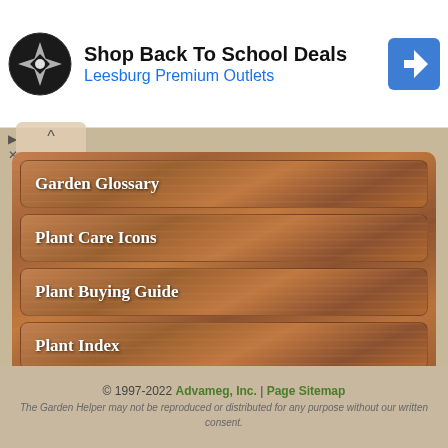[Figure (infographic): Advertisement banner: circular logo with compass-like symbol, text 'Shop Back To School Deals' and 'Leesburg Premium Outlets', blue navigation arrow icon on right. Small play and close control icons below left.]
Garden Glossary
Plant Care Icons
Plant Buying Guide
Plant Index
Encyclopedia
Cookies!
© 1997-2022 Advameg, Inc. | Page Sitemap
The Garden Helper may not be reproduced or distributed for any purpose without our written consent.